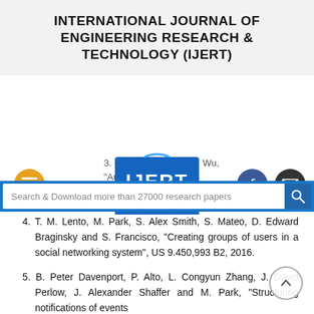INTERNATIONAL JOURNAL OF ENGINEERING RESEARCH & TECHNOLOGY (IJERT)
[Figure (logo): IJERT logo with ISSN: 2278-0181]
Search & Download more than 27000 research papers
4. T. M. Lento, M. Park, S. Alex Smith, S. Mateo, D. Edward Braginsky and S. Francisco, "Creating groups of users in a social networking system", US 9.450,993 B2, 2016.
5. B. Peter Davenport, P. Alto, L. Congyun Zhang, J. David Perlow, J. Alexander Shaffer and M. Park, "Structuring notifications of events